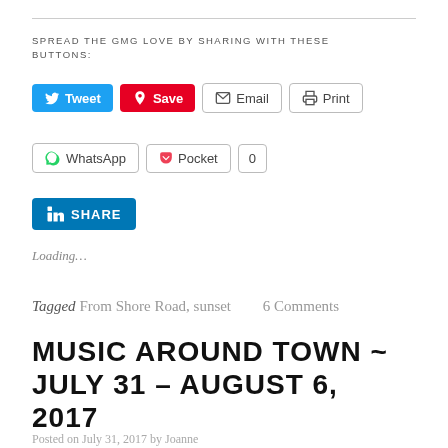SPREAD THE GMG LOVE BY SHARING WITH THESE BUTTONS:
[Figure (screenshot): Social sharing buttons: Tweet (blue), Save/Pinterest (red), Email (outline), Print (outline), WhatsApp (outline), Pocket (outline) with count 0, LinkedIn SHARE (blue)]
Loading…
Tagged From Shore Road, sunset   6 Comments
MUSIC AROUND TOWN ~ JULY 31 – AUGUST 6, 2017
Posted on July 31, 2017 by Joanne